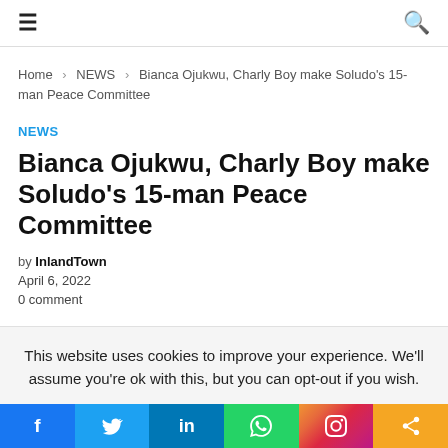≡  🔍
Home › NEWS › Bianca Ojukwu, Charly Boy make Soludo's 15-man Peace Committee
NEWS
Bianca Ojukwu, Charly Boy make Soludo's 15-man Peace Committee
by InlandTown
April 6, 2022
0 comment
This website uses cookies to improve your experience. We'll assume you're ok with this, but you can opt-out if you wish.
f  𝕏  in  WhatsApp  Instagram  Share